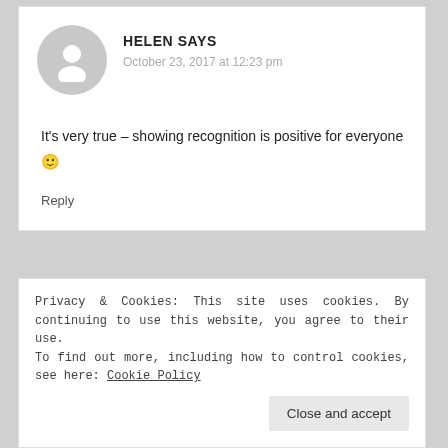HELEN SAYS
October 23, 2017 at 12:23 pm
It's very true – showing recognition is positive for everyone 🙂
Reply
Privacy & Cookies: This site uses cookies. By continuing to use this website, you agree to their use. To find out more, including how to control cookies, see here: Cookie Policy
Close and accept